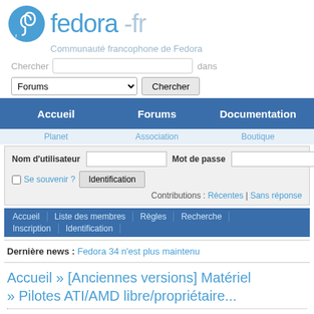[Figure (logo): Fedora-fr logo with infinity/fedora icon and text 'fedora -fr']
Communauté francophone de Fedora
Chercher [input] dans Forums [dropdown] Chercher [button]
Accueil | Forums | Documentation
Planet | Association | Boutique
| Nom d'utilisateur | [input] | Mot de passe | [input] |
| [checkbox] Se souvenir ? | Identification |  |  |
| Contributions : Récentes | Sans réponse |  |  |  |
Accueil | Liste des membres | Règles | Recherche | Inscription | Identification
Dernière news : Fedora 34 n'est plus maintenu
Accueil » [Anciennes versions] Matériel » Pilotes ATI/AMD libre/propriétaire...
Pages : 1 | 2 | 3 | ... | 28 | Suivant